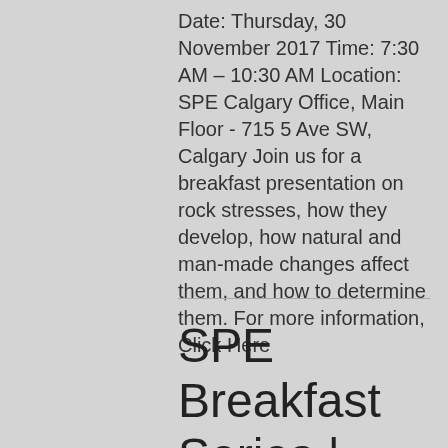Date: Thursday, 30 November 2017 Time: 7:30 AM – 10:30 AM Location: SPE Calgary Office, Main Floor - 715 5 Ave SW, Calgary Join us for a breakfast presentation on rock stresses, how they develop, how natural and man-made changes affect them, and how to determine them. For more information, Click Here
SPE Breakfast Series | Borehole Image Log